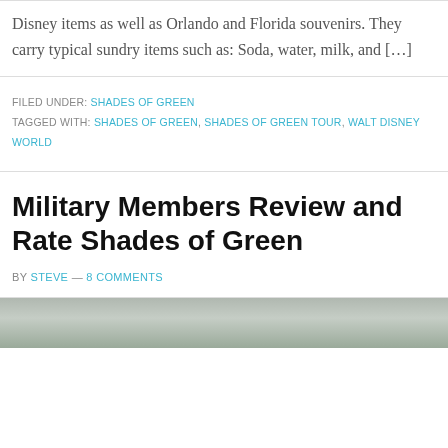Disney items as well as Orlando and Florida souvenirs. They carry typical sundry items such as: Soda, water, milk, and […]
FILED UNDER: SHADES OF GREEN
TAGGED WITH: SHADES OF GREEN, SHADES OF GREEN TOUR, WALT DISNEY WORLD
Military Members Review and Rate Shades of Green
BY STEVE — 8 COMMENTS
[Figure (photo): Grayscale photo of trees/foliage at the bottom of the page]